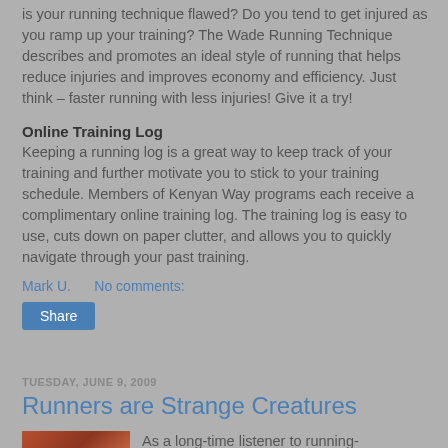is your running technique flawed? Do you tend to get injured as you ramp up your training? The Wade Running Technique describes and promotes an ideal style of running that helps reduce injuries and improves economy and efficiency. Just think – faster running with less injuries! Give it a try!
Online Training Log
Keeping a running log is a great way to keep track of your training and further motivate you to stick to your training schedule. Members of Kenyan Way programs each receive a complimentary online training log. The training log is easy to use, cuts down on paper clutter, and allows you to quickly navigate through your past training.
Mark U.      No comments:
Share
TUESDAY, JUNE 9, 2009
Runners are Strange Creatures
As a long-time listener to running-